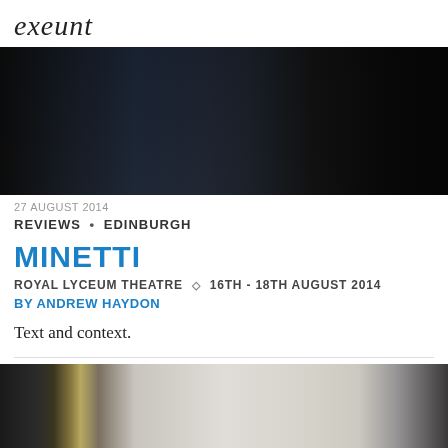exeunt
[Figure (photo): Theatre stage photo showing performers crouching, dark scene with wooden panels and dim lighting]
27 AUGUST 2014
REVIEWS • EDINBURGH
MINETTI
ROYAL LYCEUM THEATRE ◇ 16TH - 18TH AUGUST 2014
BY ANDREW HAYDON
Text and context.
[Figure (photo): Theatre set photo showing architectural elements with tiled walls and misty/foggy atmospheric lighting]